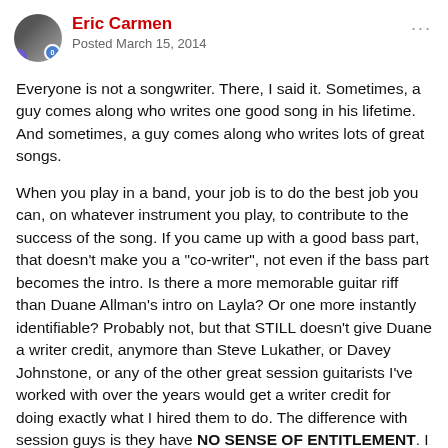Eric Carmen
Posted March 15, 2014
Everyone is not a songwriter. There, I said it. Sometimes, a guy comes along who writes one good song in his lifetime. And sometimes, a guy comes along who writes lots of great songs.
When you play in a band, your job is to do the best job you can, on whatever instrument you play, to contribute to the success of the song. If you came up with a good bass part, that doesn't make you a "co-writer", not even if the bass part becomes the intro. Is there a more memorable guitar riff than Duane Allman's intro on Layla? Or one more instantly identifiable? Probably not, but that STILL doesn't give Duane a writer credit, anymore than Steve Lukather, or Davey Johnstone, or any of the other great session guitarists I've worked with over the years would get a writer credit for doing exactly what I hired them to do. The difference with session guys is they have NO SENSE OF ENTITLEMENT. I hired them because I thought they were great, and because I thought they were the right guitarist for a particular song, they came in, did their